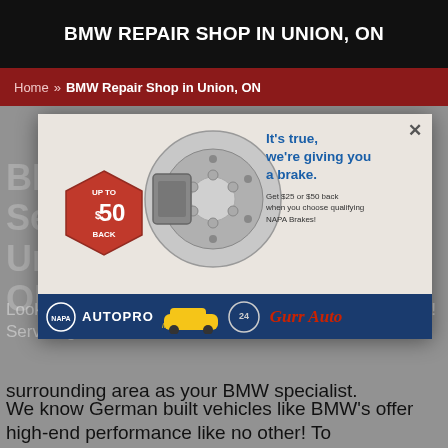BMW REPAIR SHOP IN UNION, ON
Home >> BMW Repair Shop in Union, ON
[Figure (screenshot): NAPA AutoPro promotional popup ad showing a brake disc, red hexagon badge with 'UP TO $50 BACK', text 'It’s true, we’re giving you a brake. Get $25 or $50 back when you choose qualifying NAPA Brakes!' and logos for NAPA AUTOPRO, 24hr service, and Gurr Auto at the bottom.]
BMW Repair and Service Center in Union, ON
Look no further for a BMW service center than Gurr Auto! Servicing St. Thomas and surrounding area as your BMW specialist.
We know German built vehicles like BMW’s offer high-end performance like no other! To